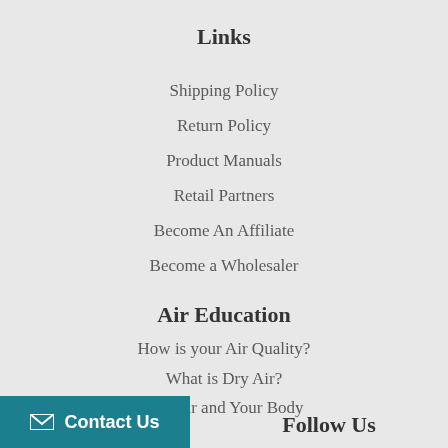Links
Shipping Policy
Return Policy
Product Manuals
Retail Partners
Become An Affiliate
Become a Wholesaler
Air Education
How is your Air Quality?
What is Dry Air?
Dry Air and Your Body
Humidification Guide
Contact Us
Follow Us